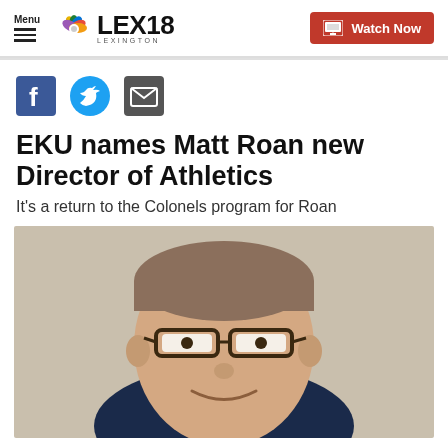Menu | LEX18 LEXINGTON | Watch Now
[Figure (other): Social share icons: Facebook, Twitter, Email]
EKU names Matt Roan new Director of Athletics
It's a return to the Colonels program for Roan
[Figure (photo): Headshot portrait of Matt Roan, a man with short brown hair, glasses, and a navy blazer, smiling against a beige background]